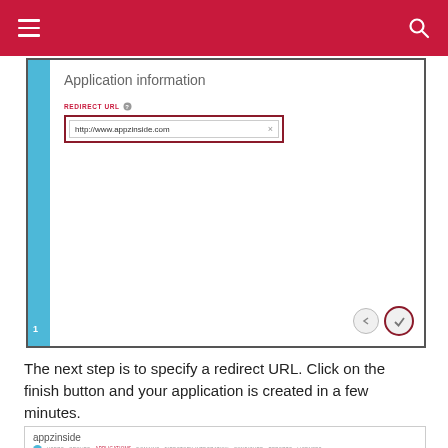[Figure (screenshot): Screenshot of Application information panel showing a REDIRECT URL field with 'http://www.appzinside.com' entered in a text input box highlighted with a red border, and navigation buttons (back arrow and checkmark) at the bottom right with the checkmark highlighted with a red border. A blue sidebar is on the left with page number 1.]
The next step is to specify a redirect URL. Click on the finish button and your application is created in a few minutes.
[Figure (screenshot): Screenshot of appzinside application dashboard showing navigation tabs: USERS, GROUPS, APPLICATIONS (active), DOMAINS, DIRECTORY INTEGRATION, CONFIGURE, REPORTS, LICENSES, and a filter row with 'Applications my company uses' dropdown and a search field.]